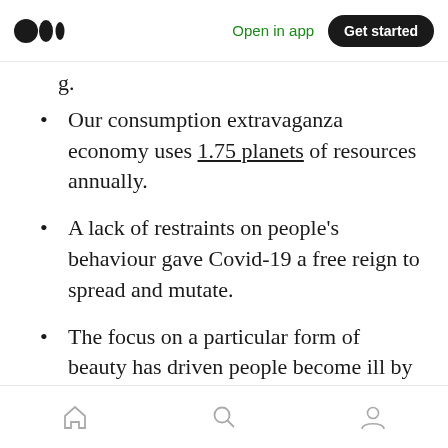Open in app | Get started
Our consumption extravaganza economy uses 1.75 planets of resources annually.
A lack of restraints on people's behaviour gave Covid-19 a free reign to spread and mutate.
The focus on a particular form of beauty has driven people become ill by obsessing over looks rather than health.
But limits are what makes life special